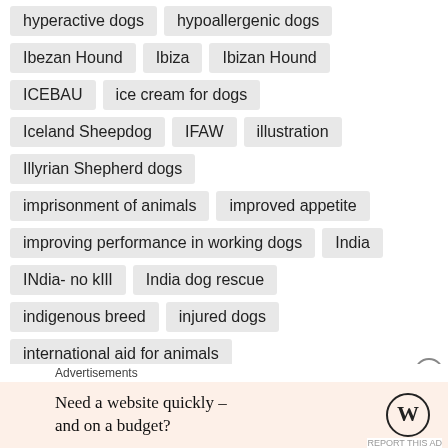hyperactive dogs
hypoallergenic dogs
Ibezan Hound
Ibiza
Ibizan Hound
ICEBAU
ice cream for dogs
Iceland Sheepdog
IFAW
illustration
Illyrian Shepherd dogs
imprisonment of animals
improved appetite
improving performance in working dogs
India
INdia- no kIlI
India dog rescue
indigenous breed
injured dogs
international aid for animals
Advertisements
Need a website quickly – and on a budget?